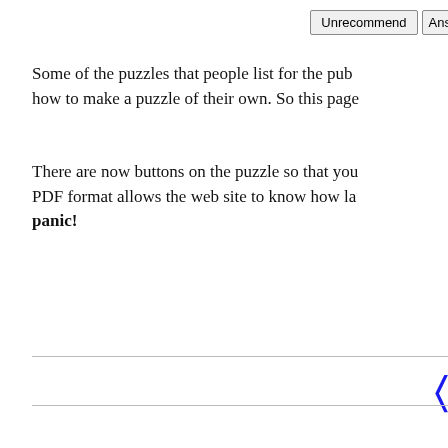Unrecommend | Ans...
Some of the puzzles that people list for the pub... how to make a puzzle of their own. So this page...
There are now buttons on the puzzle so that you... PDF format allows the web site to know how la... panic!